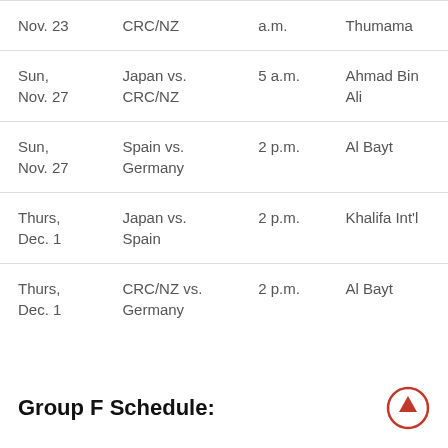| Date | Match | Time | Venue |
| --- | --- | --- | --- |
| Nov. 23 | CRC/NZ | a.m. | Thumama |
| Sun,
Nov. 27 | Japan vs.
CRC/NZ | 5 a.m. | Ahmad Bin Ali |
| Sun,
Nov. 27 | Spain vs.
Germany | 2 p.m. | Al Bayt |
| Thurs,
Dec. 1 | Japan vs.
Spain | 2 p.m. | Khalifa Int'l |
| Thurs,
Dec. 1 | CRC/NZ vs.
Germany | 2 p.m. | Al Bayt |
Group F Schedule: